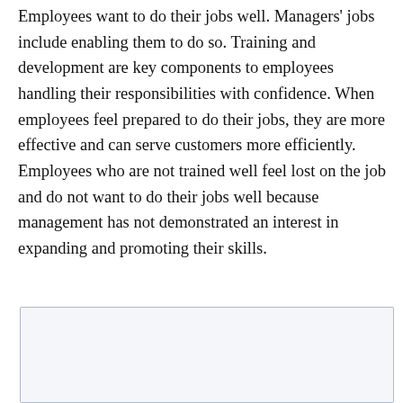Employees want to do their jobs well. Managers' jobs include enabling them to do so. Training and development are key components to employees handling their responsibilities with confidence. When employees feel prepared to do their jobs, they are more effective and can serve customers more efficiently. Employees who are not trained well feel lost on the job and do not want to do their jobs well because management has not demonstrated an interest in expanding and promoting their skills.
[Figure (other): Empty light blue-grey bordered box at bottom of page]